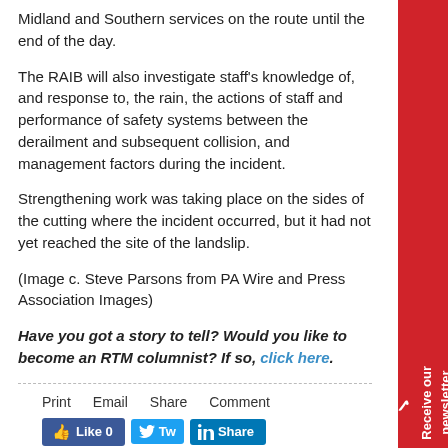Midland and Southern services on the route until the end of the day.
The RAIB will also investigate staff's knowledge of, and response to, the rain, the actions of staff and performance of safety systems between the derailment and subsequent collision, and management factors during the incident.
Strengthening work was taking place on the sides of the cutting where the incident occurred, but it had not yet reached the site of the landslip.
(Image c. Steve Parsons from PA Wire and Press Association Images)
Have you got a story to tell? Would you like to become an RTM columnist? If so, click here.
Print   Email   Share   Comment
[Figure (other): Social share buttons: Facebook Like 0, Twitter Tweet, LinkedIn Share]
We were unable to load Disqus. If you are a moderator please see our troubleshooting guide.